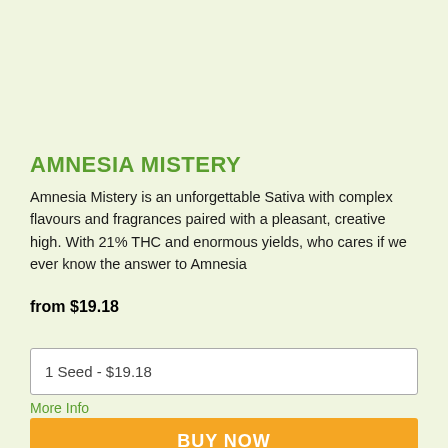AMNESIA MISTERY
Amnesia Mistery is an unforgettable Sativa with complex flavours and fragrances paired with a pleasant, creative high. With 21% THC and enormous yields, who cares if we ever know the answer to Amnesia
from $19.18
1 Seed - $19.18
More Info
BUY NOW
MORE INFO